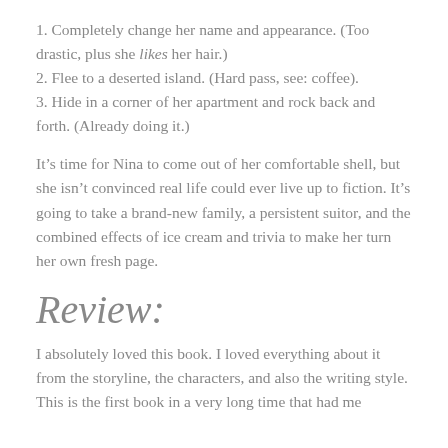1. Completely change her name and appearance. (Too drastic, plus she likes her hair.)
2. Flee to a deserted island. (Hard pass, see: coffee).
3. Hide in a corner of her apartment and rock back and forth. (Already doing it.)
It’s time for Nina to come out of her comfortable shell, but she isn’t convinced real life could ever live up to fiction. It’s going to take a brand-new family, a persistent suitor, and the combined effects of ice cream and trivia to make her turn her own fresh page.
Review:
I absolutely loved this book. I loved everything about it from the storyline, the characters, and also the writing style. This is the first book in a very long time that had me